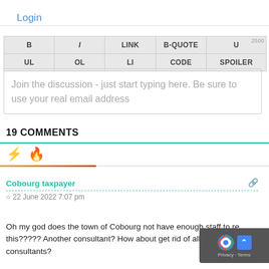Login
[Figure (screenshot): Comment editor toolbar with buttons: B, I, LINK, B-QUOTE, U (row 1, with 2500 char count); UL, OL, LI, CODE, SPOILER (row 2)]
Join the discussion - just start typing here.  Be sure to use your real email address
19 COMMENTS
[Figure (infographic): Lightning bolt icon (orange) and flame icon (red) with colored gradient underline bar]
Cobourg taxpayer
22 June 2022 7:07 pm
Oh my god does the town of Cobourg not have enough staff to re... this????? Another consultant? How about get rid of all staff and ... consultants?